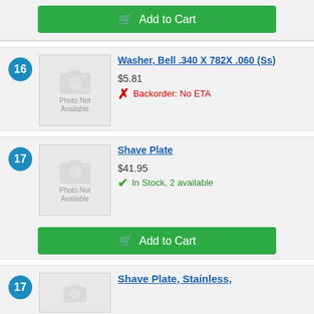[Figure (screenshot): Add to Cart green button at top of page (partial view)]
16
[Figure (photo): Photo Not Available placeholder image for item 16]
Washer, Bell .340 X 782X .060 (Ss)
$5.81
Backorder: No ETA
17
[Figure (photo): Photo Not Available placeholder image for item 17]
Shave Plate
$41.95
In Stock, 2 available
[Figure (screenshot): Add to Cart green button]
17
Shave Plate, Stainless,